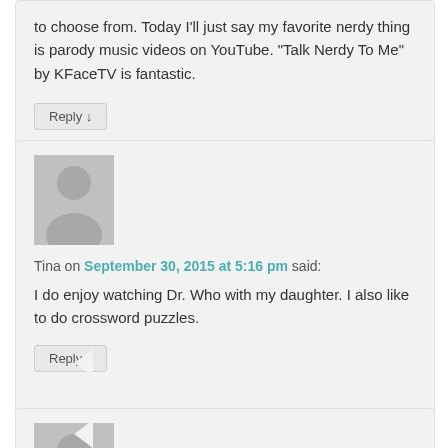to choose from. Today I'll just say my favorite nerdy thing is parody music videos on YouTube. “Talk Nerdy To Me” by KFaceTV is fantastic.
Reply ↓
Tina on September 30, 2015 at 5:16 pm said:
I do enjoy watching Dr. Who with my daughter. I also like to do crossword puzzles.
Reply ↓
[Figure (illustration): Generic user avatar placeholder - grey silhouette of a person on grey background]
[Figure (illustration): Generic user avatar placeholder - grey silhouette of a person on grey background, partially visible at bottom]